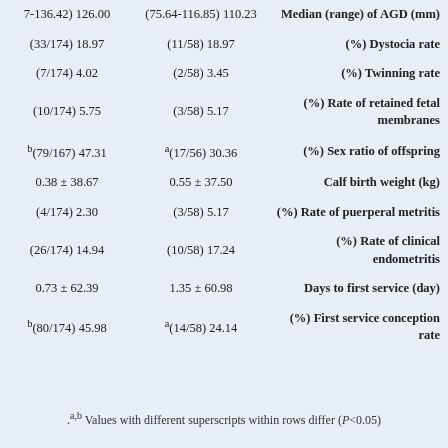| Left group value | Mid group value | Parameter |
| --- | --- | --- |
| (~7-136.42) 126.00 | (75.64-116.85) 110.23 | Median (range) of AGD (mm) |
| (33/174) 18.97 | (11/58) 18.97 | (%) Dystocia rate |
| (7/174) 4.02 | (2/58) 3.45 | (%) Twinning rate |
| (10/174) 5.75 | (3/58) 5.17 | (%) Rate of retained fetal membranes |
| b(79/167) 47.31 | a(17/56) 30.36 | (%) Sex ratio of offspring |
| 0.38 ± 38.67 | 0.55 ± 37.50 | Calf birth weight (kg) |
| (4/174) 2.30 | (3/58) 5.17 | (%) Rate of puerperal metritis |
| (26/174) 14.94 | (10/58) 17.24 | (%) Rate of clinical endometritis |
| 0.73 ± 62.39 | 1.35 ± 60.98 | Days to first service (day) |
| b(80/174) 45.98 | a(14/58) 24.14 | (%) First service conception rate |
.a,b Values with different superscripts within rows differ (P<0.05)